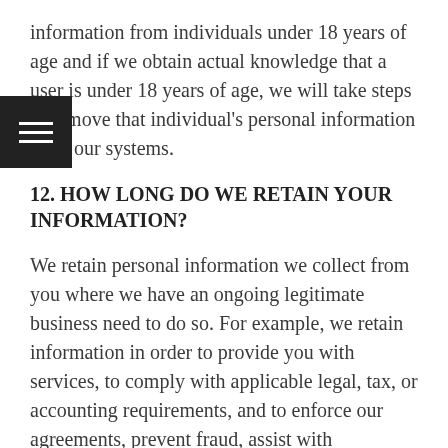information from individuals under 18 years of age and if we obtain actual knowledge that a user is under 18 years of age, we will take steps to remove that individual's personal information from our systems.
12. HOW LONG DO WE RETAIN YOUR INFORMATION?
We retain personal information we collect from you where we have an ongoing legitimate business need to do so. For example, we retain information in order to provide you with services, to comply with applicable legal, tax, or accounting requirements, and to enforce our agreements, prevent fraud, assist with investigations, resolve disputes, analyze or troubleshoot programs, enforce our terms of use, or take other actions permitted by law. We may also retain information to prevent re-registration in the event that your account has been suspended or terminated or to create an archival copy of your information, which might